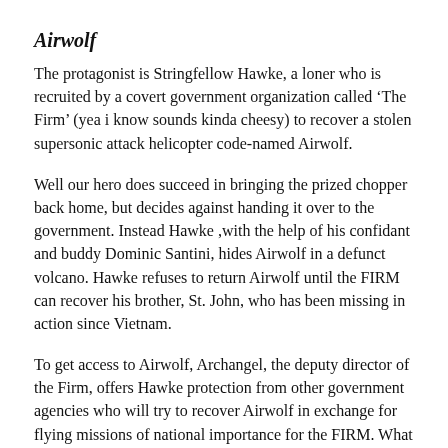Airwolf
The protagonist is Stringfellow Hawke, a loner who is recruited by a covert government organization called ‘The Firm’ (yea i know sounds kinda cheesy) to recover a stolen supersonic attack helicopter code-named Airwolf.
Well our hero does succeed in bringing the prized chopper back home, but decides against handing it over to the government. Instead Hawke ,with the help of his confidant and buddy Dominic Santini, hides Airwolf in a defunct volcano. Hawke refuses to return Airwolf until the FIRM can recover his brother, St. John, who has been missing in action since Vietnam.
To get access to Airwolf, Archangel, the deputy director of the Firm, offers Hawke protection from other government agencies who will try to recover Airwolf in exchange for flying missions of national importance for the FIRM. What